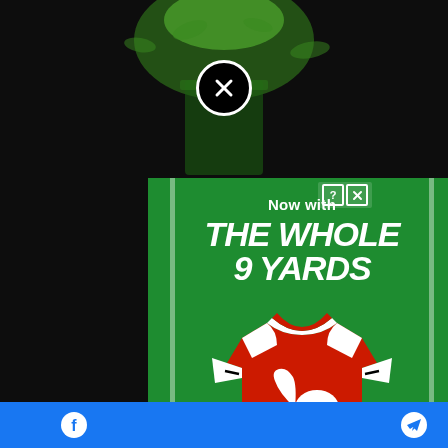[Figure (screenshot): Dark background with green liquid splashing into a glass, partially visible behind ad overlay]
[Figure (screenshot): Advertisement overlay on green background showing 'Now with THE WHOLE 9 YARDS' text and a red football/soccer jersey with BitLife logo, with close buttons and field line decorations]
Were y
Trulaw
[Figure (screenshot): Partial thumbnail images visible on right side]
[Figure (screenshot): Facebook and Telegram social sharing bar at bottom in blue]